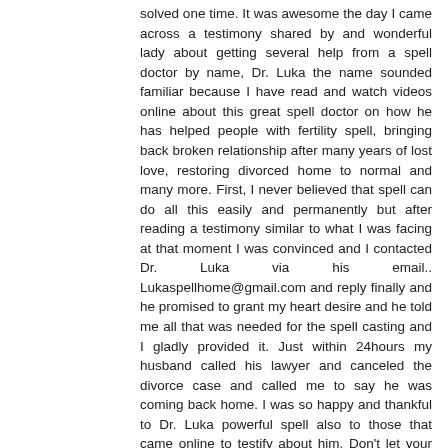solved one time. It was awesome the day I came across a testimony shared by and wonderful lady about getting several help from a spell doctor by name, Dr. Luka the name sounded familiar because I have read and watch videos online about this great spell doctor on how he has helped people with fertility spell, bringing back broken relationship after many years of lost love, restoring divorced home to normal and many more. First, I never believed that spell can do all this easily and permanently but after reading a testimony similar to what I was facing at that moment I was convinced and I contacted Dr. Luka via his email.. Lukaspellhome@gmail.com and reply finally and he promised to grant my heart desire and he told me all that was needed for the spell casting and I gladly provided it. Just within 24hours my husband called his lawyer and canceled the divorce case and called me to say he was coming back home. I was so happy and thankful to Dr. Luka powerful spell also to those that came online to testify about him. Don't let your problems bring you down because most problems are not ordinary as you see them to be. His email: Lukaspellhome@gmail.com or via WhatsApp +2348132098544